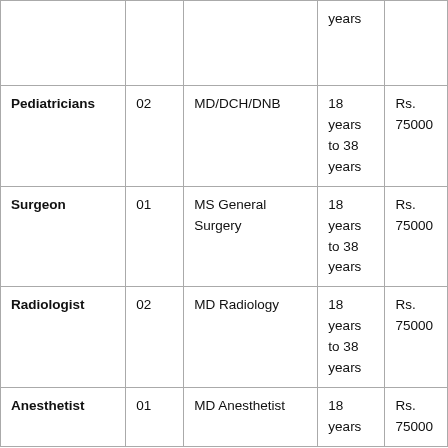|  |  |  | years |  |
| Pediatricians | 02 | MD/DCH/DNB | 18 years to 38 years | Rs. 75000 |
| Surgeon | 01 | MS General Surgery | 18 years to 38 years | Rs. 75000 |
| Radiologist | 02 | MD Radiology | 18 years to 38 years | Rs. 75000 |
| Anesthetist | 01 | MD Anesthetist | 18 years | Rs. 75000 |